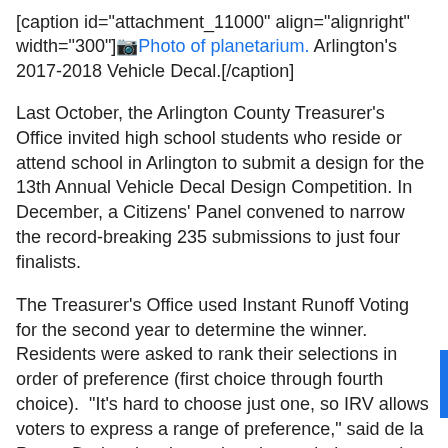[caption id="attachment_11000" align="alignright" width="300"] Photo of planetarium. Arlington's 2017-2018 Vehicle Decal.[/caption]
Last October, the Arlington County Treasurer's Office invited high school students who reside or attend school in Arlington to submit a design for the 13th Annual Vehicle Decal Design Competition. In December, a Citizens' Panel convened to narrow the record-breaking 235 submissions to just four finalists.
The Treasurer's Office used Instant Runoff Voting for the second year to determine the winner.  Residents were asked to rank their selections in order of preference (first choice through fourth choice).  "It's hard to choose just one, so IRV allows voters to express a range of preference," said de la Pava.  During the six-week voting period, more than 3,200 Arlington residents voted.